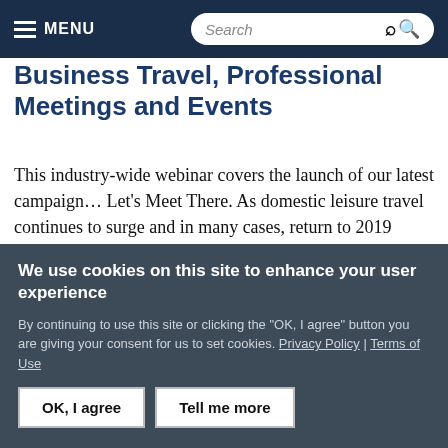MENU | Search
Business Travel, Professional Meetings and Events
This industry-wide webinar covers the launch of our latest campaign… Let's Meet There. As domestic leisure travel continues to surge and in many cases, return to 2019 levels, we close the Let's Go There chapter and shift our focus to chapter two—the restoration of business travel, meetings and…
We use cookies on this site to enhance your user experience
By continuing to use this site or clicking the "OK, I agree" button you are giving your consent for us to set cookies. Privacy Policy | Terms of Use
OK, I agree   Tell me more